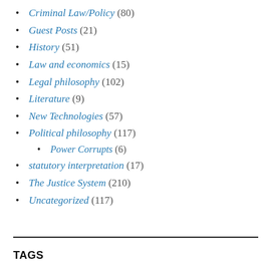Criminal Law/Policy (80)
Guest Posts (21)
History (51)
Law and economics (15)
Legal philosophy (102)
Literature (9)
New Technologies (57)
Political philosophy (117)
Power Corrupts (6)
statutory interpretation (17)
The Justice System (210)
Uncategorized (117)
TAGS